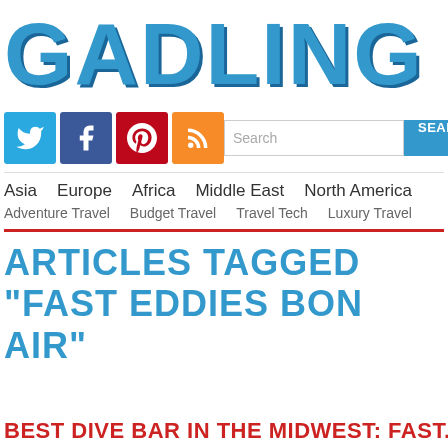GADLING
[Figure (logo): Social media icons: Twitter (blue), Facebook (dark blue), Pinterest (red), RSS (orange)]
Search
Asia   Europe   Africa   Middle East   North America
Adventure Travel   Budget Travel   Travel Tech   Luxury Travel
ARTICLES TAGGED "FAST EDDIES BON AIR"
BEST DIVE BAR IN THE MIDWEST: FAST...